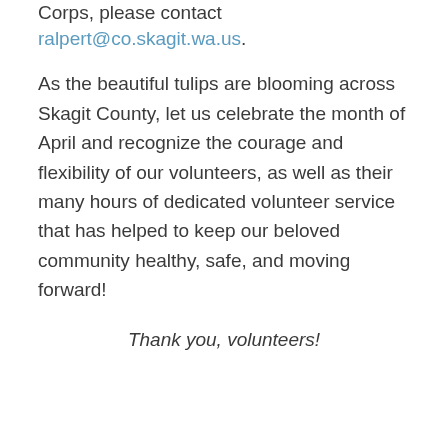Corps, please contact ralpert@co.skagit.wa.us.
As the beautiful tulips are blooming across Skagit County, let us celebrate the month of April and recognize the courage and flexibility of our volunteers, as well as their many hours of dedicated volunteer service that has helped to keep our beloved community healthy, safe, and moving forward!
Thank you, volunteers!